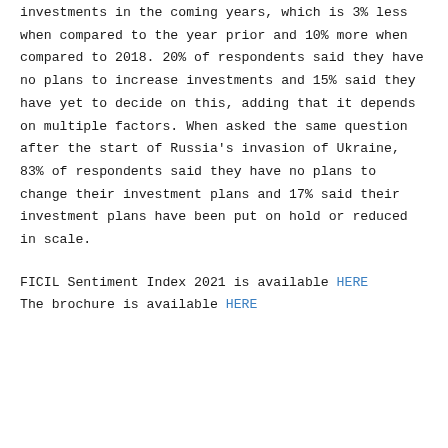investments in the coming years, which is 3% less when compared to the year prior and 10% more when compared to 2018. 20% of respondents said they have no plans to increase investments and 15% said they have yet to decide on this, adding that it depends on multiple factors. When asked the same question after the start of Russia's invasion of Ukraine, 83% of respondents said they have no plans to change their investment plans and 17% said their investment plans have been put on hold or reduced in scale.
FICIL Sentiment Index 2021 is available HERE
The brochure is available HERE